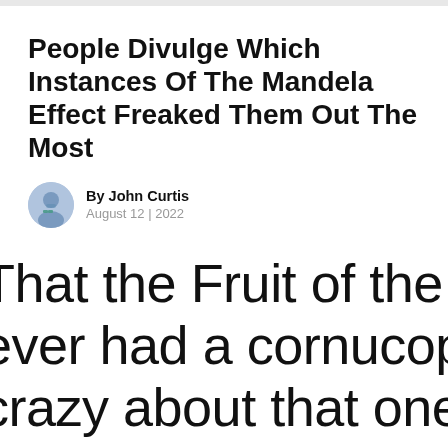People Divulge Which Instances Of The Mandela Effect Freaked Them Out The Most
By John Curtis
August 12 | 2022
That the Fruit of the Loom logo never had a cornucopia. What's crazy about that one is that someone emailed the creator of